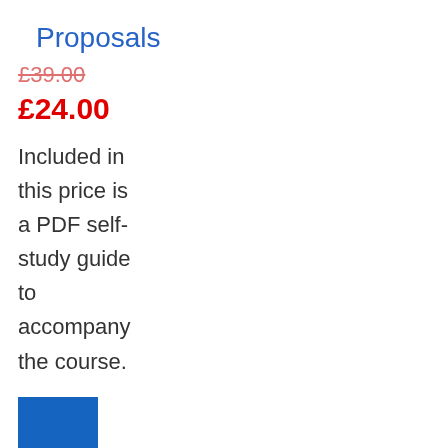Proposals
£39.00
£24.00
Included in this price is a PDF self-study guide to accompany the course.
[Figure (other): Solid blue square button/icon]